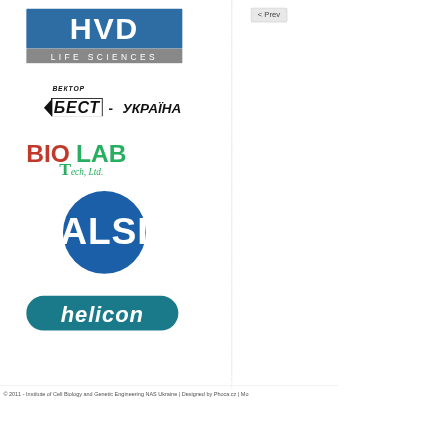[Figure (logo): HVD Life Sciences logo — blue rectangle with white bold text HVD, grey bar below with white text LIFE SCIENCES]
[Figure (logo): Вектор-БЕСТ-УКРАЇНА logo — italic bold Cyrillic text ВЕКТОР above, bold slanted БЕСТ with arrow and УКРАЇНА below, underlined]
[Figure (logo): BIOLAB Tech, Ltd. logo — red and green stylized text BIOLAB with T and Tech, Ltd. below in green]
[Figure (logo): ALSI registered trademark logo — bold blue text ALSI with registered symbol inside a blue circle]
[Figure (logo): helicon logo — white italic text helicon on teal/blue rounded pill shape]
© 2011 - Institute of Cell Biology and Genetic Engineering NAS Ukraine | Designed by Phoca.cz | Mo...